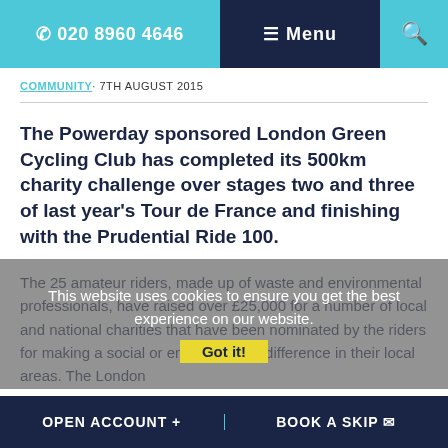☎ 020 8960 4646  ☰ Menu  🔍
COMMUNITY · 7TH AUGUST 2015
The Powerday sponsored London Green Cycling Club has completed its 500km charity challenge over stages two and three of last year's Tour de France and finishing with the Prudential Ride 100.
The 25 amateur riders, made up of waste and environmental professionals, have raised over £25,000 for a number of local and national charities that have been nominated by the riders for making a social or environmental difference in their local areas. The London
This website uses cookies to ensure you get the best experience on our website.
Got it!
OPEN ACCOUNT +    BOOK A SKIP ✉